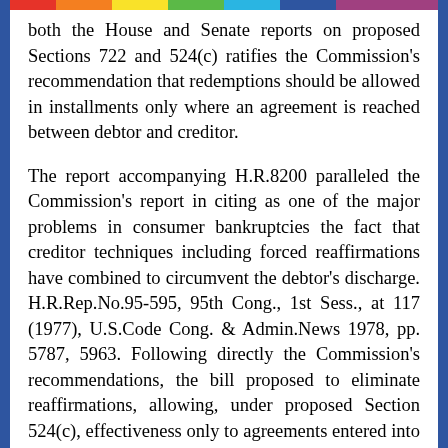both the House and Senate reports on proposed Sections 722 and 524(c) ratifies the Commission's recommendation that redemptions should be allowed in installments only where an agreement is reached between debtor and creditor.
The report accompanying H.R.8200 paralleled the Commission's report in citing as one of the major problems in consumer bankruptcies the fact that creditor techniques including forced reaffirmations have combined to circumvent the debtor's discharge. H.R.Rep.No.95-595, 95th Cong., 1st Sess., at 117 (1977), U.S.Code Cong. & Admin.News 1978, pp. 5787, 5963. Following directly the Commission's recommendations, the bill proposed to eliminate reaffirmations, allowing, under proposed Section 524(c), effectiveness only to agreements entered into in settlement of nondischargeability litigation and agreements providing for redemption. Further paralleling the Commission's recommendations,